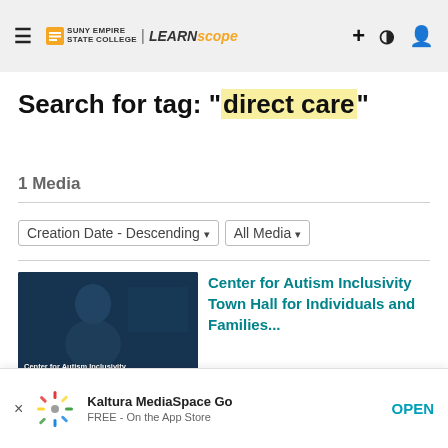SUNY EMPIRE | LEARNscape
Search for tag: "direct care"
1 Media
Creation Date - Descending  All Media
[Figure (screenshot): Thumbnail of Center for Autism Inclusivity video with person visible]
Center for Autism Inclusivity Town Hall for Individuals and Families 8/25/2022
Kaltura MediaSpace Go
FREE - On the App Store
OPEN